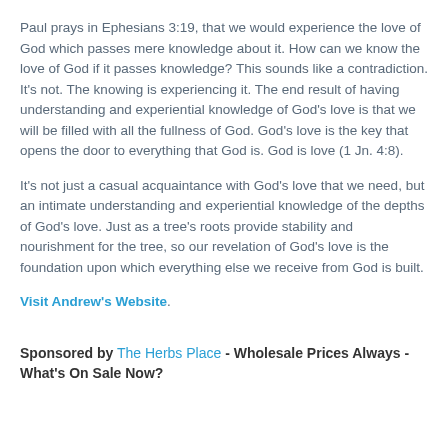Paul prays in Ephesians 3:19, that we would experience the love of God which passes mere knowledge about it. How can we know the love of God if it passes knowledge? This sounds like a contradiction. It's not. The knowing is experiencing it. The end result of having understanding and experiential knowledge of God's love is that we will be filled with all the fullness of God. God's love is the key that opens the door to everything that God is. God is love (1 Jn. 4:8).
It's not just a casual acquaintance with God's love that we need, but an intimate understanding and experiential knowledge of the depths of God's love. Just as a tree's roots provide stability and nourishment for the tree, so our revelation of God's love is the foundation upon which everything else we receive from God is built.
Visit Andrew's Website.
Sponsored by The Herbs Place - Wholesale Prices Always - What's On Sale Now?